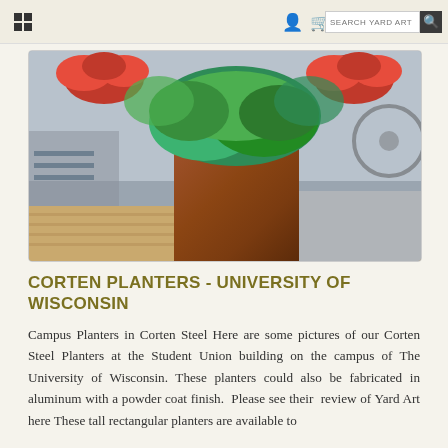SEARCH YARD ART
[Figure (photo): A square Corten Steel planter filled with green foliage and red flowers, sitting on a wooden deck. Background shows outdoor furniture and a concrete area.]
CORTEN PLANTERS - UNIVERSITY OF WISCONSIN
Campus Planters in Corten Steel Here are some pictures of our Corten Steel Planters at the Student Union building on the campus of The University of Wisconsin. These planters could also be fabricated in aluminum with a powder coat finish.  Please see their  review of Yard Art here These tall rectangular planters are available to